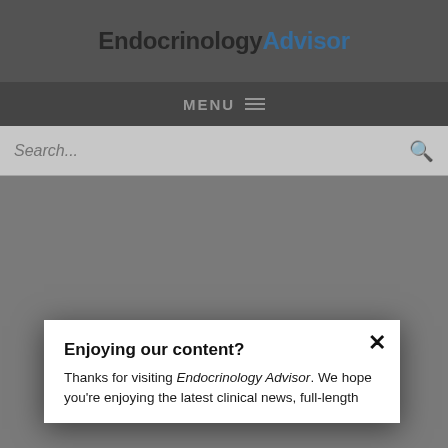EndocrinologyAdvisor
MENU ≡
Search...
Enjoying our content?
Thanks for visiting Endocrinology Advisor. We hope you're enjoying the latest clinical news, full-length
NEXT POST IN CARDIOVASCULAR AND METABOLIC DISORDERS
[Figure (photo): Person wearing blue top, measuring tape around waist, suggesting metabolic/obesity theme]
Depression May Be Associated With Metabolic Syndrome in Older Adults
LOGIN
REGISTER